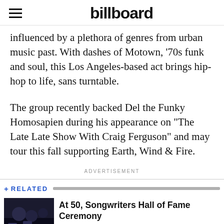billboard
influenced by a plethora of genres from urban music past. With dashes of Motown, ‘70s funk and soul, this Los Angeles-based act brings hip-hop to life, sans turntable.
The group recently backed Del the Funky Homosapien during his appearance on “The Late Late Show With Craig Ferguson” and may tour this fall supporting Earth, Wind & Fire.
ADVERTISEMENT
+ RELATED
At 50, Songwriters Hall of Fame Ceremony